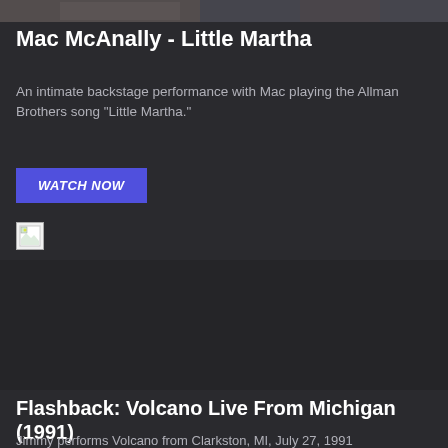[Figure (photo): Cropped top image strip showing a backstage or concert photo, partially visible]
Mac McAnally - Little Martha
An intimate backstage performance with Mac playing the Allman Brothers song "Little Martha."
WATCH NOW
[Figure (photo): Broken/missing image placeholder icon]
Flashback: Volcano Live From Michigan (1991)
Jimmy performs Volcano from Clarkston, MI, July 27, 1991